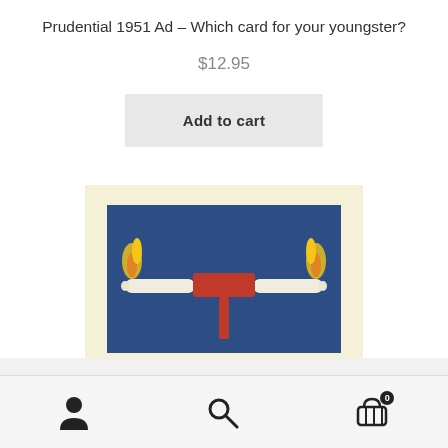Prudential 1951 Ad – Which card for your youngster?
$12.95
Add to cart
[Figure (photo): Product image of a 1951 Prudential advertisement card showing two candles burning at each end of a horizontal rod attached to a vertical stick, against a dark blue background, mounted with a cream/white border.]
Navigation bar with user icon, search icon, and cart icon with badge showing 0